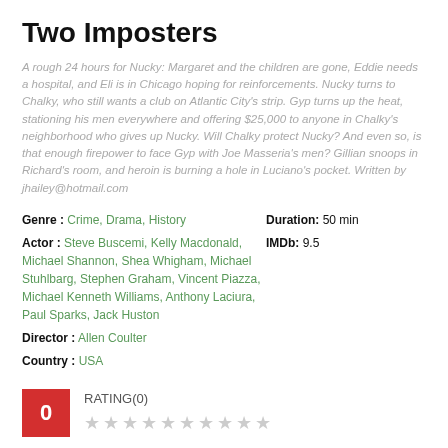Two Imposters
A rough 24 hours for Nucky: Margaret and the children are gone, Eddie needs a hospital, and Eli is in Chicago hoping for reinforcements. Nucky turns to Chalky, who still wants a club on Atlantic City's strip. Gyp turns up the heat, stationing his men everywhere and offering $25,000 to anyone in Chalky's neighborhood who gives up Nucky. Will Chalky protect Nucky? And even so, is that enough firepower to face Gyp with Joe Masseria's men? Gillian snoops in Richard's room, and heroin is burning a hole in Luciano's pocket. Written by jhailey@hotmail.com
Genre : Crime, Drama, History
Duration: 50 min
Actor : Steve Buscemi, Kelly Macdonald, Michael Shannon, Shea Whigham, Michael Stuhlbarg, Stephen Graham, Vincent Piazza, Michael Kenneth Williams, Anthony Laciura, Paul Sparks, Jack Huston
IMDb: 9.5
Director : Allen Coulter
Country : USA
RATING(0)